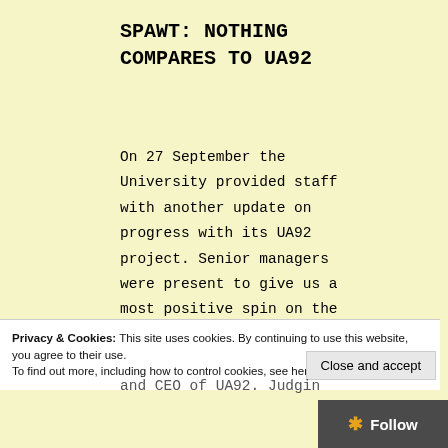SPAWT: NOTHING COMPARES TO UA92
On 27 September the University provided staff with another update on progress with its UA92 project. Senior managers were present to give us a most positive spin on the work which has taken place over the last year;
(bullet point beginning)
Privacy & Cookies: This site uses cookies. By continuing to use this website, you agree to their use. To find out more, including how to control cookies, see here: Cookie Policy
Close and accept
and CEO of UA92. Judgin...